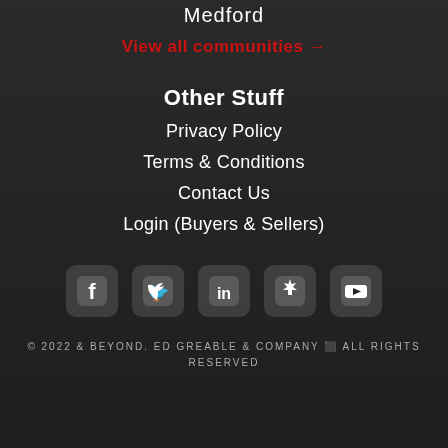Medford
View all communities →
Other Stuff
Privacy Policy
Terms & Conditions
Contact Us
Login (Buyers & Sellers)
[Figure (infographic): Row of 5 social media icons: Facebook, Twitter, LinkedIn, Yelp, YouTube]
© 2022 & BEYOND. ED GREABLE & COMPANY ⬛ ALL RIGHTS RESERVED